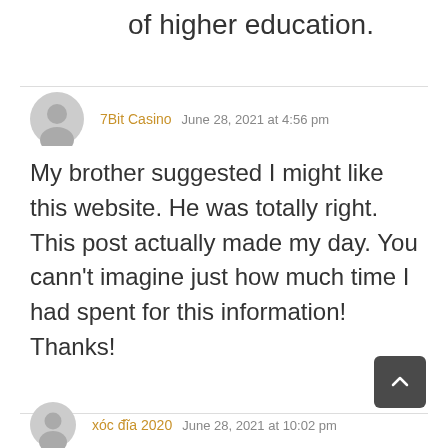of higher education.
7Bit Casino  June 28, 2021 at 4:56 pm
My brother suggested I might like this website. He was totally right. This post actually made my day. You cann't imagine just how much time I had spent for this information! Thanks!
xóc đĩa 2020  June 28, 2021 at 10:02 pm